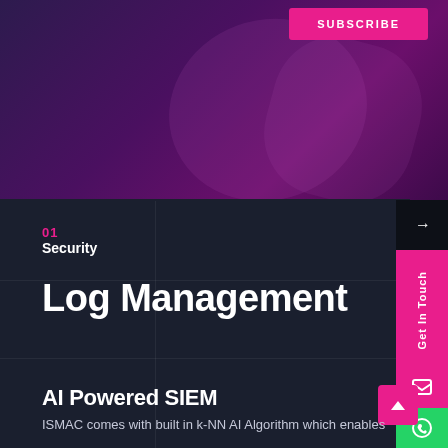[Figure (screenshot): Top purple/magenta gradient banner section of a website with decorative abstract lines]
SUBSCRIBE
01
Security
Log Management
AI Powered SIEM
ISMAC comes with built in k-NN AI Algorithm which enables
Get In Touch